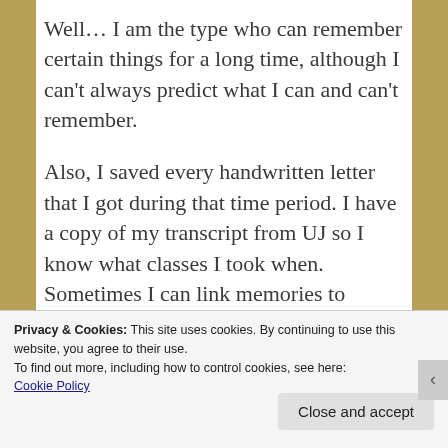Well… I am the type who can remember certain things for a long time, although I can't always predict what I can and can't remember.
Also, I saved every handwritten letter that I got during that time period. I have a copy of my transcript from UJ so I know what classes I took when. Sometimes I can link memories to specific events for which I can look up the date. Like the night I met Eddie
Privacy & Cookies: This site uses cookies. By continuing to use this website, you agree to their use.
To find out more, including how to control cookies, see here:
Cookie Policy